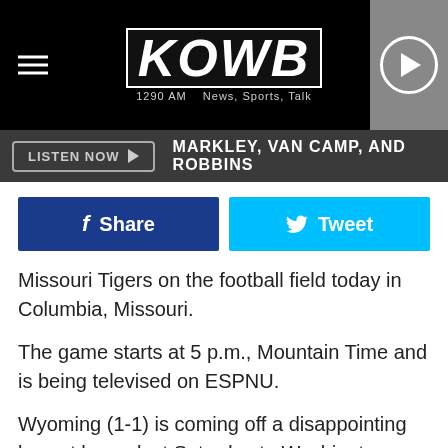[Figure (logo): KOWB 1290 AM News, Sports, Talk radio logo with hamburger menu and play button]
LISTEN NOW ▶  MARKLEY, VAN CAMP, AND ROBBINS
[Figure (infographic): Facebook Share button and Twitter Tweet button]
Missouri Tigers on the football field today in Columbia, Missouri.
The game starts at 5 p.m., Mountain Time and is being televised on ESPNU.
Wyoming (1-1) is coming off a disappointing loss at home last Saturday to Washington State, 41-19. It was so frustrating that head coach Craig Bohl was asked about his disappointment with effort and penalties earlier in the week